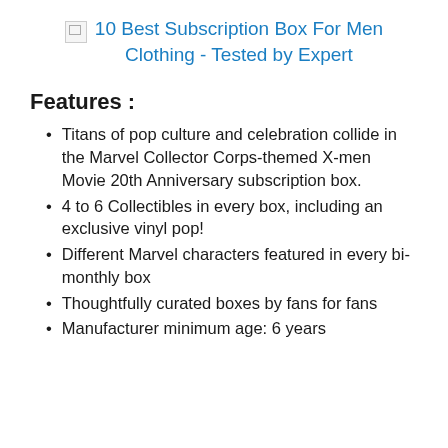10 Best Subscription Box For Men Clothing - Tested by Expert
Features :
Titans of pop culture and celebration collide in the Marvel Collector Corps-themed X-men Movie 20th Anniversary subscription box.
4 to 6 Collectibles in every box, including an exclusive vinyl pop!
Different Marvel characters featured in every bi-monthly box
Thoughtfully curated boxes by fans for fans
Manufacturer minimum age: 6 years